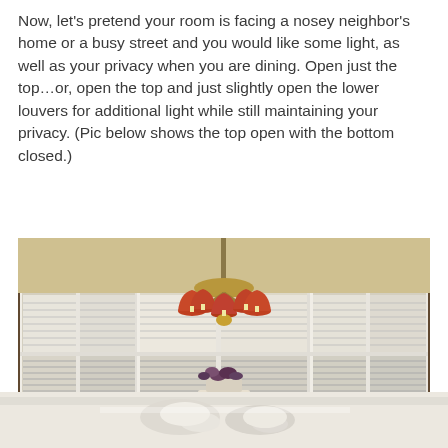Now, let's pretend your room is facing a nosey neighbor's home or a busy street and you would like some light, as well as your privacy when you are dining. Open just the top…or, open the top and just slightly open the lower louvers for additional light while still maintaining your privacy. (Pic below shows the top open with the bottom closed.)
[Figure (photo): Interior dining room photo showing white plantation shutters across multiple windows with the top panels open and bottom panels closed. A gold chandelier with red/orange lampshades hangs in the center. Two wicker chairs and a decorative flower vase are visible in the foreground. Walls are painted a warm yellow.]